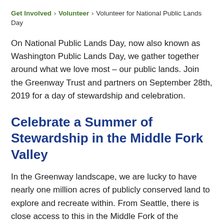Get Involved › Volunteer › Volunteer for National Public Lands Day
On National Public Lands Day, now also known as Washington Public Lands Day, we gather together around what we love most – our public lands. Join the Greenway Trust and partners on September 28th, 2019 for a day of stewardship and celebration.
Celebrate a Summer of Stewardship in the Middle Fork Valley
In the Greenway landscape, we are lucky to have nearly one million acres of publicly conserved land to explore and recreate within. From Seattle, there is close access to this in the Middle Fork of the Snoqualmie River...